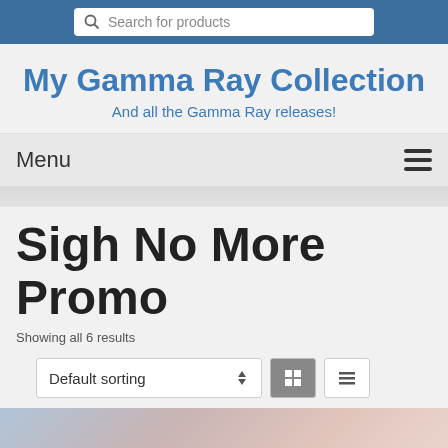Search for products
My Gamma Ray Collection
And all the Gamma Ray releases!
Menu
Sigh No More Promo
Showing all 6 results
Default sorting
[Figure (photo): Product image preview, partially visible at bottom of page showing soft pastel colors in blue, pink, and white tones]